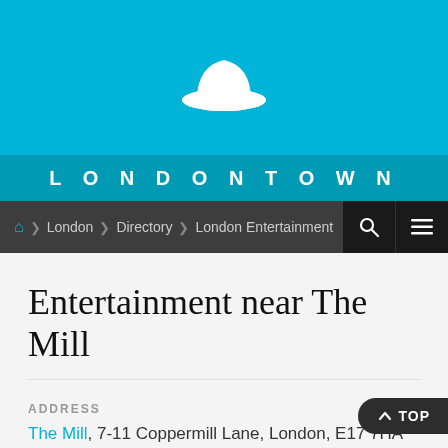[Figure (logo): LondonTown website header with sky blue background and white bowler hat icon, with LONDONTOWN text in teal band below]
London > Directory > London Entertainment
Entertainment near The Mill
ADDRESS
The Mill, 7-11 Coppermill Lane, London, E17 7HA